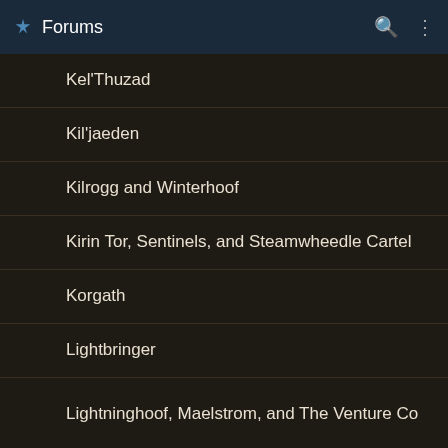Forums
Kel'Thuzad
Kil'jaeden
Kilrogg and Winterhoof
Kirin Tor, Sentinels, and Steamwheedle Cartel
Korgath
Lightbringer
Lightninghoof, Maelstrom, and The Venture Co
Mal'Ganis
Malfurion and Trollbane